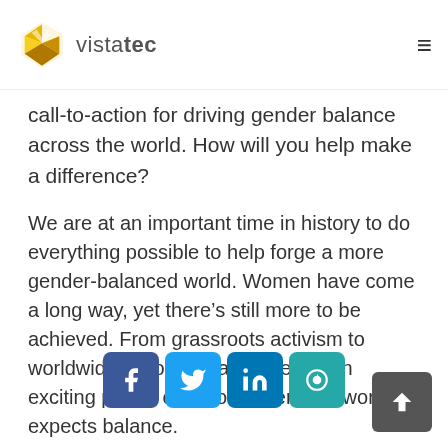vistatec
call-to-action for driving gender balance across the world. How will you help make a difference?
We are at an important time in history to do everything possible to help forge a more gender-balanced world. Women have come a long way, yet there’s still more to be achieved. From grassroots activism to worldwide action, we are entering an exciting period of history where the world expects balance.
As the world celebrates international